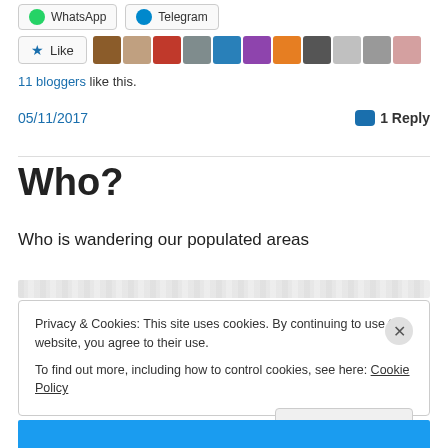[Figure (screenshot): WhatsApp and Telegram share buttons at top of page]
[Figure (screenshot): Like button with star icon and row of blogger avatar thumbnails]
11 bloggers like this.
05/11/2017
1 Reply
Who?
Who is wandering our populated areas
Privacy & Cookies: This site uses cookies. By continuing to use this website, you agree to their use.
To find out more, including how to control cookies, see here: Cookie Policy
Close and accept